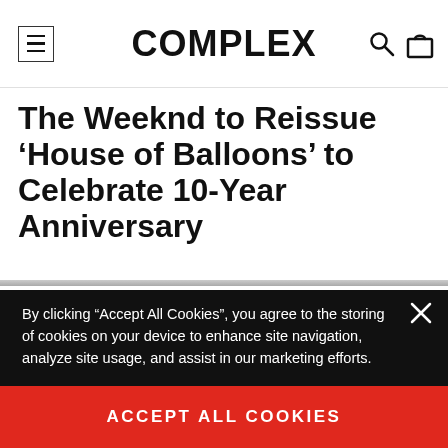COMPLEX
The Weeknd to Reissue ‘House of Balloons’ to Celebrate 10-Year Anniversary
By clicking “Accept All Cookies”, you agree to the storing of cookies on your device to enhance site navigation, analyze site usage, and assist in our marketing efforts.
ACCEPT ALL COOKIES